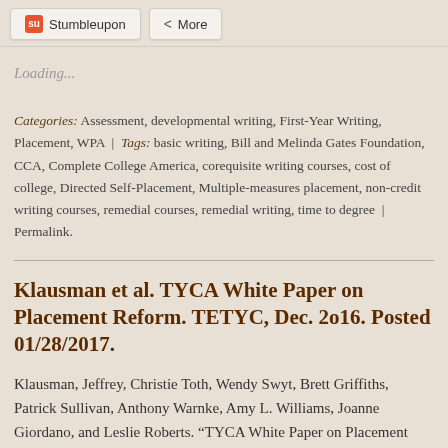[Figure (other): Social share buttons: Stumbleupon and More]
Loading...
Categories: Assessment, developmental writing, First-Year Writing, Placement, WPA | Tags: basic writing, Bill and Melinda Gates Foundation, CCA, Complete College America, corequisite writing courses, cost of college, Directed Self-Placement, Multiple-measures placement, non-credit writing courses, remedial courses, remedial writing, time to degree | Permalink.
Klausman et al. TYCA White Paper on Placement Reform. TETYC, Dec. 2o16. Posted 01/28/2017.
Klausman, Jeffrey, Christie Toth, Wendy Swyt, Brett Griffiths, Patrick Sullivan, Anthony Warnke, Amy L. Williams, Joanne Giordano, and Leslie Roberts. “TYCA White Paper on Placement Reform.